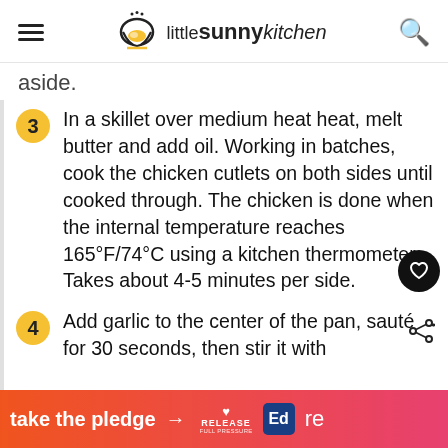little sunny kitchen
aside.
3 In a skillet over medium heat heat, melt butter and add oil. Working in batches, cook the chicken cutlets on both sides until cooked through. The chicken is done when the internal temperature reaches 165°F/74°C using a kitchen thermometer. Takes about 4-5 minutes per side.
4 Add garlic to the center of the pan, sauté for 30 seconds, then stir it with
[Figure (other): Advertisement banner: take the pledge arrow, RELEASE logo, Ed logo, partial text 're']